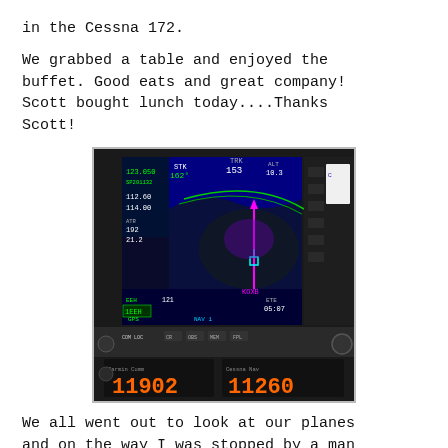in the Cessna 172.
We grabbed a table and enjoyed the buffet. Good eats and great company! Scott bought lunch today....Thanks Scott!
[Figure (photo): Aircraft avionics panel showing a glass cockpit GPS navigation display with a moving map, radio frequencies (123.050, 112.60, 114.00), ATR 192 21.2, KOXB destination, ETE 05:07, heading 121, and two digital frequency displays reading 11902 and 11260.]
We all went out to look at our planes and on the way I was stopped by a man who reads my blog. We had met before and he said he always reads the blog